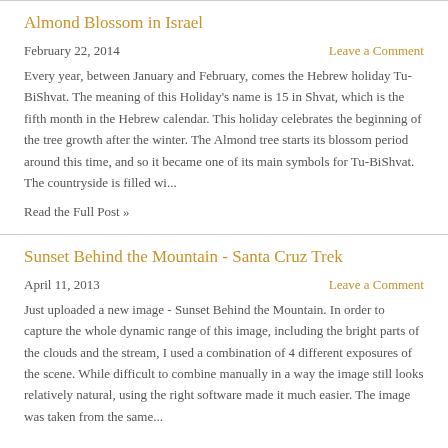Almond Blossom in Israel
February 22, 2014
Leave a Comment
Every year, between January and February, comes the Hebrew holiday Tu-BiShvat. The meaning of this Holiday's name is 15 in Shvat, which is the fifth month in the Hebrew calendar. This holiday celebrates the beginning of the tree growth after the winter. The Almond tree starts its blossom period around this time, and so it became one of its main symbols for Tu-BiShvat. The countryside is filled wi...
Read the Full Post »
Sunset Behind the Mountain - Santa Cruz Trek
April 11, 2013
Leave a Comment
Just uploaded a new image - Sunset Behind the Mountain. In order to capture the whole dynamic range of this image, including the bright parts of the clouds and the stream, I used a combination of 4 different exposures of the scene. While difficult to combine manually in a way the image still looks relatively natural, using the right software made it much easier. The image was taken from the same...